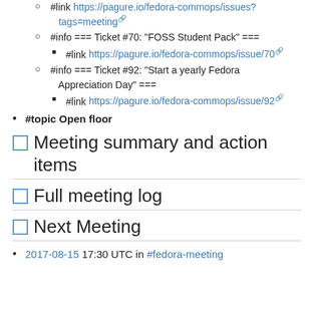#link https://pagure.io/fedora-commops/issues?tags=meeting
#info === Ticket #70: "FOSS Student Pack" ===
#link https://pagure.io/fedora-commops/issue/70
#info === Ticket #92: "Start a yearly Fedora Appreciation Day" ===
#link https://pagure.io/fedora-commops/issue/92
#topic Open floor
Meeting summary and action items
Full meeting log
Next Meeting
2017-08-15 17:30 UTC in #fedora-meeting